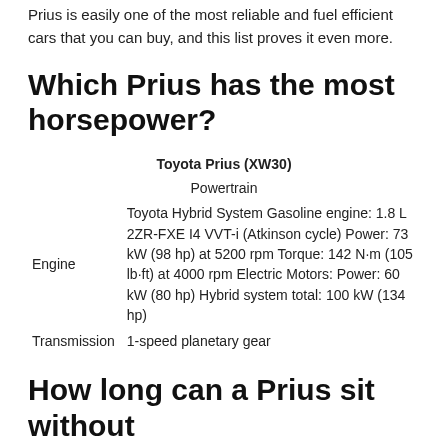Prius is easily one of the most reliable and fuel efficient cars that you can buy, and this list proves it even more.
Which Prius has the most horsepower?
| Toyota Prius (XW30) |  |
| --- | --- |
|  | Powertrain |
| Engine | Toyota Hybrid System Gasoline engine: 1.8 L 2ZR-FXE I4 VVT-i (Atkinson cycle) Power: 73 kW (98 hp) at 5200 rpm Torque: 142 N·m (105 lb·ft) at 4000 rpm Electric Motors: Power: 60 kW (80 hp) Hybrid system total: 100 kW (134 hp) |
| Transmission | 1-speed planetary gear |
How long can a Prius sit without